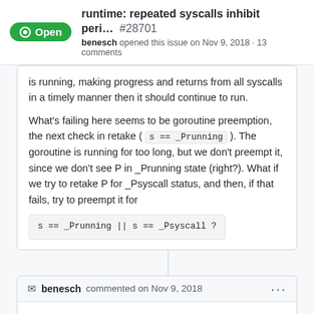runtime: repeated syscalls inhibit peri... #28701
benesch opened this issue on Nov 9, 2018 · 13 comments
is running, making progress and returns from all syscalls in a timely manner then it should continue to run.

What's failing here seems to be goroutine preemption, the next check in retake ( s == _Prunning ). The goroutine is running for too long, but we don't preempt it, since we don't see P in _Prunning state (right?). What if we try to retake P for _Psyscall status, and then, if that fails, try to preempt it for
s == _Prunning || s == _Psyscall ?
benesch commented on Nov 9, 2018
Ah, yeah, sorry I wasn't more clear. Considering that P's G for preemption,
not retaking the P itself, was exactly what I had in mind. This is somewhat
complicated because a P does not maintain a reference to its